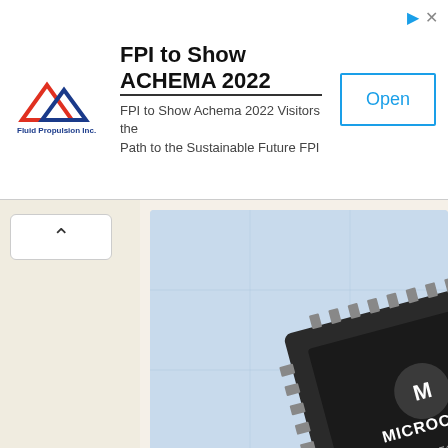[Figure (screenshot): FPI advertisement banner with logo, title 'FPI to Show ACHEMA 2022', subtitle text, and Open button]
[Figure (photo): Microchip SST89E516RD2 integrated circuit chip on blue background]
Monster Shooter Defense Video
About Monster Shooter Defense